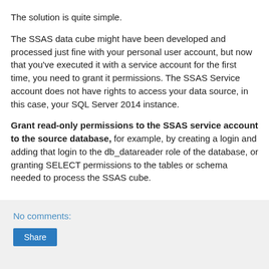The solution is quite simple.
The SSAS data cube might have been developed and processed just fine with your personal user account, but now that you've executed it with a service account for the first time, you need to grant it permissions. The SSAS Service account does not have rights to access your data source, in this case, your SQL Server 2014 instance.
Grant read-only permissions to the SSAS service account to the source database, for example, by creating a login and adding that login to the db_datareader role of the database, or granting SELECT permissions to the tables or schema needed to process the SSAS cube.
No comments:
Share